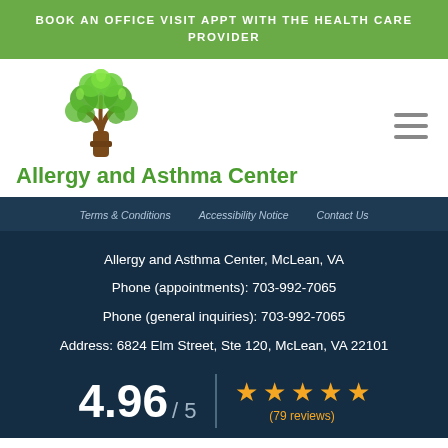BOOK AN OFFICE VISIT APPT WITH THE HEALTH CARE PROVIDER
[Figure (logo): Green tree logo with brown trunk for Allergy and Asthma Center]
Allergy and Asthma Center
Terms & Conditions   Accessibility Notice   Contact Us
Allergy and Asthma Center, McLean, VA
Phone (appointments): 703-992-7065
Phone (general inquiries): 703-992-7065
Address: 6824 Elm Street, Ste 120, McLean, VA 22101
4.96 / 5  ★★★★★ (79 reviews)